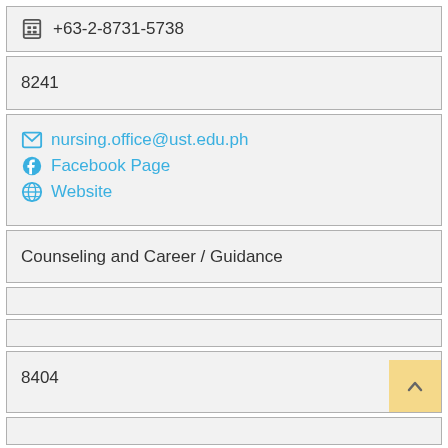+63-2-8731-5738
8241
nursing.office@ust.edu.ph
Facebook Page
Website
Counseling and Career / Guidance
8404
Faculty Room